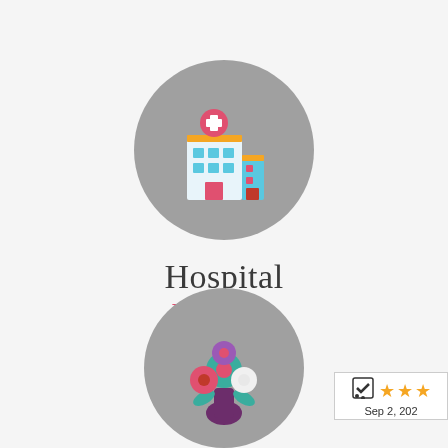[Figure (logo): Hospital delivery service logo with gray circle containing a flat-style hospital building icon, below which reads 'Hospital' in dark serif text and 'Delivery' in red-pink italic cursive text]
[Figure (illustration): Partial gray circle at bottom center containing a flat-style flower bouquet icon with teal, pink/red, and white flowers]
[Figure (other): Rating badge in bottom right corner showing a checkmark shopping cart logo, three orange stars, and date 'Sep 2, 202...']